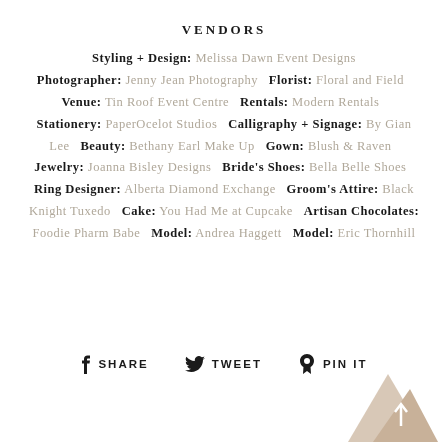VENDORS
Styling + Design: Melissa Dawn Event Designs Photographer: Jenny Jean Photography Florist: Floral and Field Venue: Tin Roof Event Centre Rentals: Modern Rentals Stationery: PaperOcelot Studios Calligraphy + Signage: By Gian Lee Beauty: Bethany Earl Make Up Gown: Blush & Raven Jewelry: Joanna Bisley Designs Bride's Shoes: Bella Belle Shoes Ring Designer: Alberta Diamond Exchange Groom's Attire: Black Knight Tuxedo Cake: You Had Me at Cupcake Artisan Chocolates: Foodie Pharm Babe Model: Andrea Haggett Model: Eric Thornhill
SHARE   TWEET   PIN IT